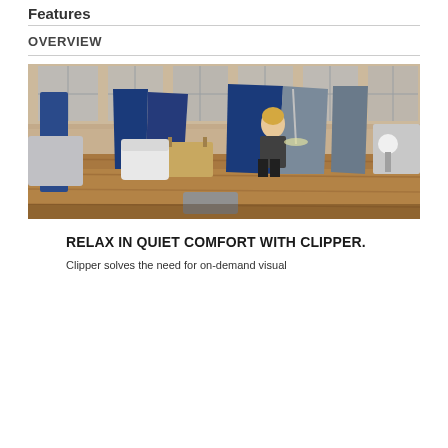Features
OVERVIEW
[Figure (photo): Office lounge area showing Clipper high-back upholstered seating pods in blue and grey fabric with privacy panels, a woman sitting in one of the chairs using a phone, small side tables, and other office furniture in an industrial-style space with wood floors and large windows.]
RELAX IN QUIET COMFORT WITH CLIPPER.
Clipper solves the need for on-demand visual